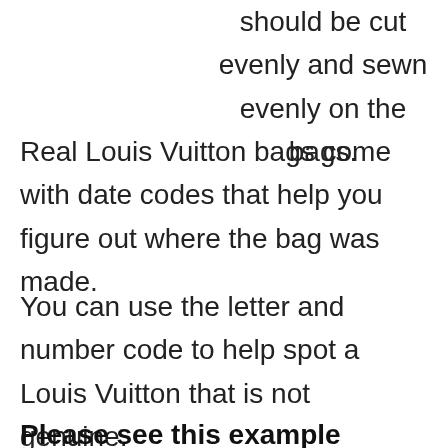should be cut evenly and sewn evenly on the bags.
Real Louis Vuitton bags come with date codes that help you figure out where the bag was made.
You can use the letter and number code to help spot a Louis Vuitton that is not genuine.
Please see this example